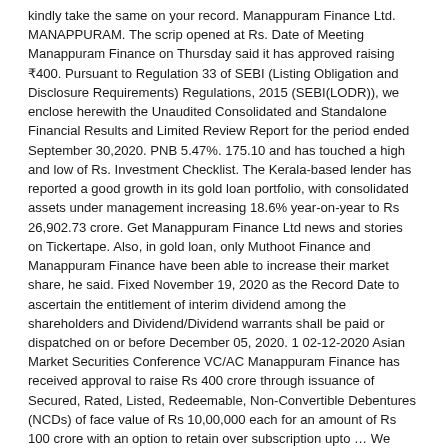kindly take the same on your record. Manappuram Finance Ltd. MANAPPURAM. The scrip opened at Rs. Date of Meeting Manappuram Finance on Thursday said it has approved raising ₹400. Pursuant to Regulation 33 of SEBI (Listing Obligation and Disclosure Requirements) Regulations, 2015 (SEBI(LODR)), we enclose herewith the Unaudited Consolidated and Standalone Financial Results and Limited Review Report for the period ended September 30,2020. PNB 5.47%. 175.10 and has touched a high and low of Rs. Investment Checklist. The Kerala-based lender has reported a good growth in its gold loan portfolio, with consolidated assets under management increasing 18.6% year-on-year to Rs 26,902.73 crore. Get Manappuram Finance Ltd news and stories on Tickertape. Also, in gold loan, only Muthoot Finance and Manappuram Finance have been able to increase their market share, he said. Fixed November 19, 2020 as the Record Date to ascertain the entitlement of interim dividend among the shareholders and Dividend/Dividend warrants shall be paid or dispatched on or before December 05, 2020. 1 02-12-2020 Asian Market Securities Conference VC/AC Manappuram Finance has received approval to raise Rs 400 crore through issuance of Secured, Rated, Listed, Redeemable, Non-Convertible Debentures (NCDs) of face value of Rs 10,00,000 each for an amount of Rs 100 crore with an option to retain over subscription upto … We wish to inform you that the investor presentation and press release w.r.t Q2 FY20-21 results will be uploaded on the website of the Company and the same is available under the tab: